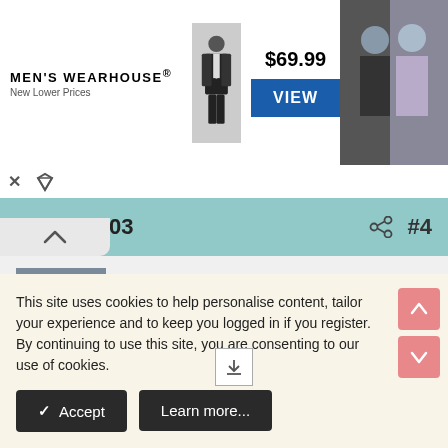[Figure (screenshot): Men's Wearhouse advertisement banner with suit figure, $69.99 price, VIEW button, and couple photo on right]
30 Jul 2003
#4
mdchachi
Moderator  Moderator
Legally Japanese full-time workers get at least two weeks a year. Practically speaking, aside from national holidays, I'd say
This site uses cookies to help personalise content, tailor your experience and to keep you logged in if you register.
By continuing to use this site, you are consenting to our use of cookies.
✓ Accept
Learn more...